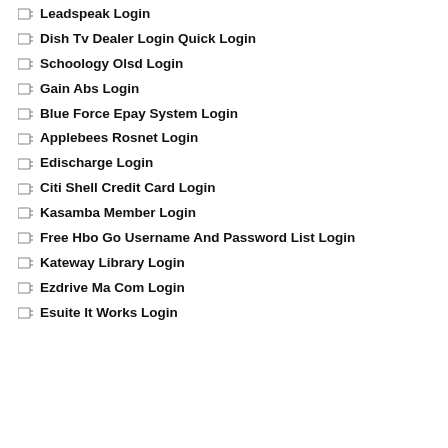Leadspeak Login
Dish Tv Dealer Login Quick Login
Schoology Olsd Login
Gain Abs Login
Blue Force Epay System Login
Applebees Rosnet Login
Edischarge Login
Citi Shell Credit Card Login
Kasamba Member Login
Free Hbo Go Username And Password List Login
Kateway Library Login
Ezdrive Ma Com Login
Esuite It Works Login